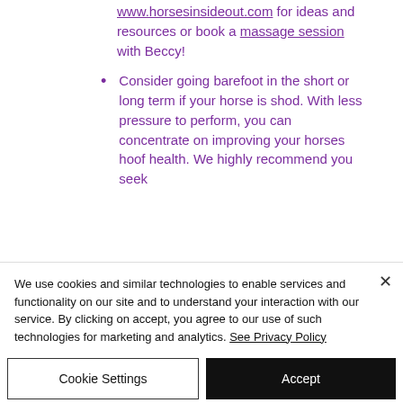www.horsesinsideout.com for ideas and resources or book a massage session with Beccy!
Consider going barefoot in the short or long term if your horse is shod. With less pressure to perform, you can concentrate on improving your horses hoof health. We highly recommend you seek
We use cookies and similar technologies to enable services and functionality on our site and to understand your interaction with our service. By clicking on accept, you agree to our use of such technologies for marketing and analytics. See Privacy Policy